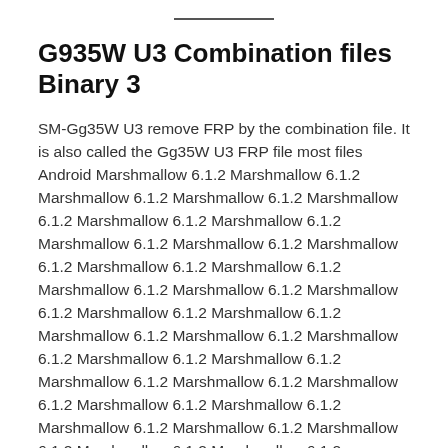G935W U3 Combination files Binary 3
SM-Gg35W U3 remove FRP by the combination file. It is also called the Gg35W U3 FRP file most files Android Marshmallow 6.1.2 Marshmallow 6.1.2 Marshmallow 6.1.2 Marshmallow 6.1.2 Marshmallow 6.1.2 Marshmallow 6.1.2 Marshmallow 6.1.2 Marshmallow 6.1.2 Marshmallow 6.1.2 Marshmallow 6.1.2 Marshmallow 6.1.2 Marshmallow 6.1.2 Marshmallow 6.1.2 Marshmallow 6.1.2 Marshmallow 6.1.2 Marshmallow 6.1.2 Marshmallow 6.1.2 Marshmallow 6.1.2 Marshmallow 6.1.2 Marshmallow 6.1.2 Marshmallow 6.1.2 Marshmallow 6.1.2 Marshmallow 6.1.2 Marshmallow 6.1.2 Marshmallow 6.1.2 Marshmallow 6.1.2 Marshmallow 6.1.2 Marshmallow 6.1.2 Marshmallow 6.1.2 Marshmallow 6.1.2 Marshmallow 6.1.2 Marshmallow 6.1.2 Marshmallow 6.1.2 Marshmallow 6.1.2 Marshmallow 6.1.2 Marshmallow 6.1.2 Marshmallow 6.1.2 Marshmallow 6.1.2 Marshmallow 6.1.2 Marshmallow 6.1.2 Marshmallow 6.1.2 Marshmallow 6.1.2 Marshmallow 6.1.2 Marshmallow 6.1.2 Marshmallow 6.1.2